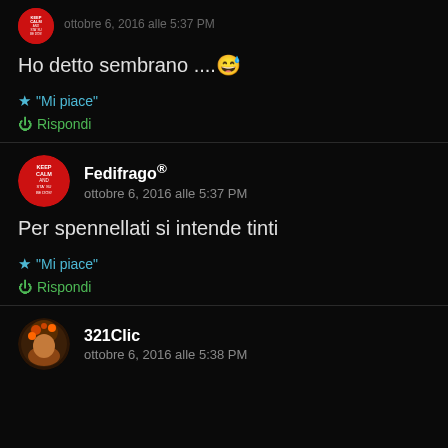Ho detto sembrano ....😄
"Mi piace"
Rispondi
Fedifrago®
ottobre 6, 2016 alle 5:37 PM
Per spennellati si intende tinti
"Mi piace"
Rispondi
321Clic
ottobre 6, 2016 alle 5:38 PM